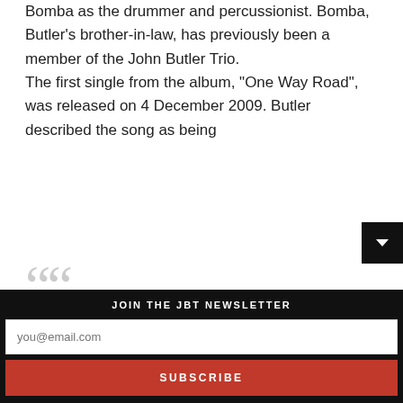Bomba as the drummer and percussionist. Bomba, Butler's brother-in-law, has previously been a member of the John Butler Trio. The first single from the album, "One Way Road", was released on 4 December 2009. Butler described the song as being
the combination of pretty much most of my musical influences; dancehall, roots & rock. Some how we found a way to bring all these feels in a way that sounds natural
JOIN THE JBT NEWSLETTER